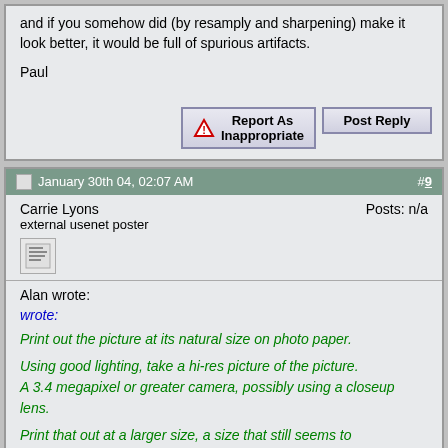and if you somehow did (by resamply and sharpening) make it look better, it would be full of spurious artifacts.
Paul
[Figure (screenshot): Report As Inappropriate button with warning triangle icon]
[Figure (screenshot): Post Reply button]
January 30th 04, 02:07 AM  #9
Carrie Lyons
external usenet poster
Posts: n/a
Alan wrote:
wrote:
Print out the picture at its natural size on photo paper.
Using good lighting, take a hi-res picture of the picture. A 3.4 megapixel or greater camera, possibly using a closeup lens.
Print that out at a larger size, a size that still seems to have all the detail. Repeat until you get the size you want.